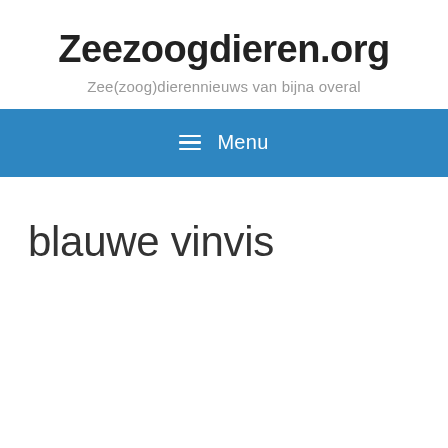Zeezoogdieren.org
Zee(zoog)dierennieuws van bijna overal
≡ Menu
blauwe vinvis